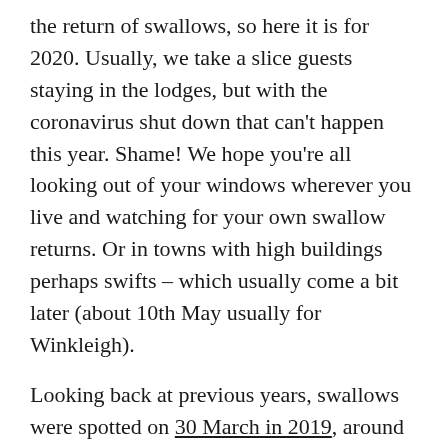the return of swallows, so here it is for 2020. Usually, we take a slice guests staying in the lodges, but with the coronavirus shut down that can't happen this year. Shame! We hope you're all looking out of your windows wherever you live and watching for your own swallow returns. Or in towns with high buildings perhaps swifts – which usually come a bit later (about 10th May usually for Winkleigh).
Looking back at previous years, swallows were spotted on 30 March in 2019, around 12th April in 2018 and 9th April in 2017. So the timing is about right, and there are plenty of insects in the air for food.
We're so glad they didn't get the memo banning international travel this year! And they are not the only new arrivals. The trees are full of chiff chaffs, and yesterday the first black cap was singing – a lovely male with his clear colouration, giving the species its